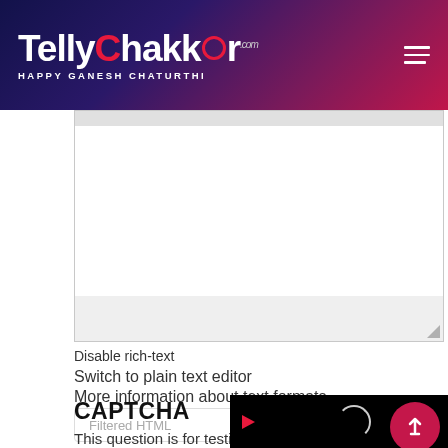TellyChakkar.com HAPPY GANESH CHATURTHI
[Figure (screenshot): Rich-text editor area with top toolbar strip, main white editing area, and resize handle row]
Disable rich-text
Switch to plain text editor
More information about text formats
Filtered HTML
CAPTCHA
This question is for testing wh